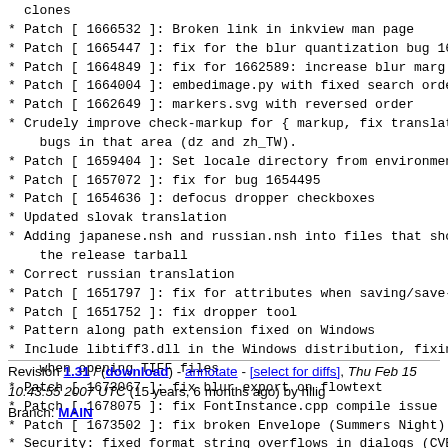clones
Patch [ 1666532 ]: Broken link in inkview man page
Patch [ 1665447 ]: fix for the blur quantization bug 16
Patch [ 1664849 ]: fix for 1662589: increase blur marg:
Patch [ 1664004 ]: embedimage.py with fixed search orde
Patch [ 1662649 ]: markers.svg with reversed order
Crudely improve check-markup for { markup, fix translat bugs in that area (dz and zh_TW).
Patch [ 1659404 ]: Set locale directory from environmen
Patch [ 1657072 ]: fix for bug 1654495
Patch [ 1654636 ]: defocus dropper checkboxes
Updated slovak translation
Adding japanese.nsh and russian.nsh into files that sho the release tarball
Correct russian translation
Patch [ 1651797 ]: fix for attributes when saving/save-
Patch [ 1651752 ]: fix dropper tool
Pattern along path extension fixed on Windows
Include libtiff3.dll in the Windows distribution, fixin when opening TIFF files
Patch [ 1673067 ]: fix blur export on flowtext
Patch [ 1678075 ]: fix FontInstance.cpp compile issue
Patch [ 1673502 ]: fix broken Envelope (Summers Night)
Security: fixed format string overflows in dialogs (CVE and whiteboard Jabber protocol (CVE-2007-1464).
Revision 1.31 / (download) - annotate - [select for diffs], Thu Feb 15 10:43:55 2007 UTC (15 years, 6 months ago) by rillig Branch: MAIN